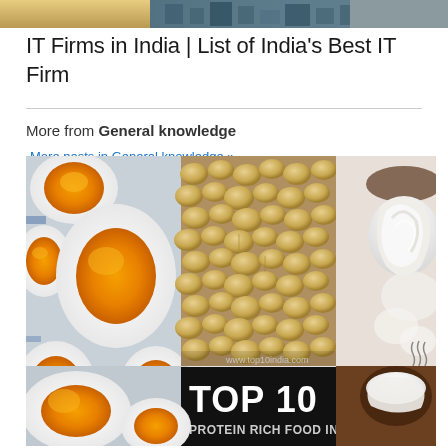[Figure (photo): Top strip partial image showing buildings/cityscape]
IT Firms in India | List of India’s Best IT Firm
More from General knowledge  More posts in General knowledge »
[Figure (infographic): Composite food photo showing boiled eggs, soybeans, and yogurt/cream with text overlay reading 'TOP 10 PROTEIN RICH FOOD IN INDIA' and www.top10india.com watermark, with TOP10 India logo badge]